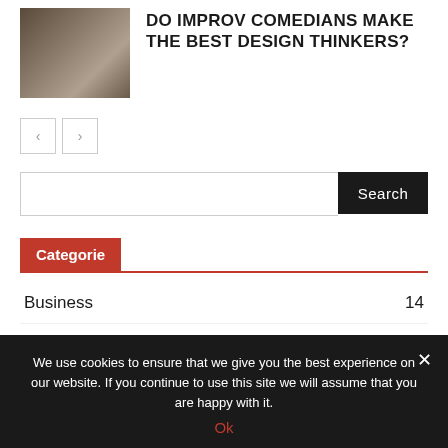[Figure (photo): Photo of a man in a shirt and tie in an indoor setting]
DO IMPROV COMEDIANS MAKE THE BEST DESIGN THINKERS?
[Figure (other): Navigation arrows: left and right arrow buttons]
[Figure (other): Search bar with Search button]
Categorie
Business 14
Culture 5
We use cookies to ensure that we give you the best experience on our website. If you continue to use this site we will assume that you are happy with it.
Ok